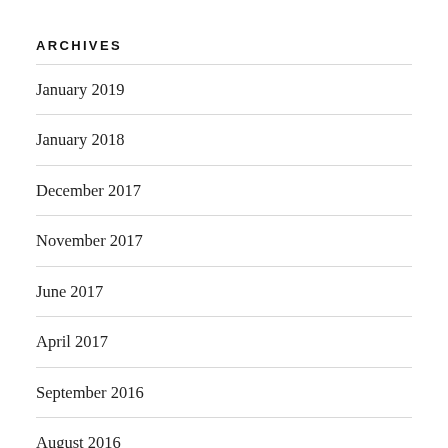ARCHIVES
January 2019
January 2018
December 2017
November 2017
June 2017
April 2017
September 2016
August 2016